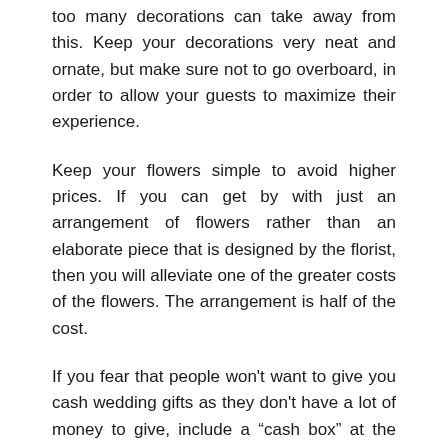too many decorations can take away from this. Keep your decorations very neat and ornate, but make sure not to go overboard, in order to allow your guests to maximize their experience.
Keep your flowers simple to avoid higher prices. If you can get by with just an arrangement of flowers rather than an elaborate piece that is designed by the florist, then you will alleviate one of the greater costs of the flowers. The arrangement is half of the cost.
If you fear that people won't want to give you cash wedding gifts as they don't have a lot of money to give, include a “cash box” at the door to your reception. Guests are asked in the wedding invitations to bring their gift in an unmarked envelope, allow them to place it in the box anonymously and reducing any guilt they might feel.
If you’re on a tight budget for your wedding, ask your family if they can help supply the flatware and plates for